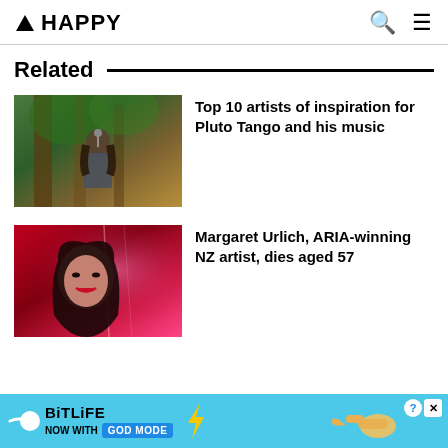▲ HAPPY
Related
[Figure (photo): Musician with long hair playing guitar and singing into a microphone outdoors among trees]
Top 10 artists of inspiration for Pluto Tango and his music
[Figure (photo): Portrait of Margaret Urlich, dark-haired woman with red lips against a red and pink background]
Margaret Urlich, ARIA-winning NZ artist, dies aged 57
[Figure (infographic): BitLife advertisement banner: NOW WITH GOD MODE]